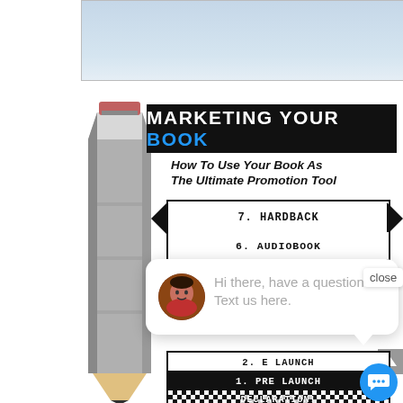[Figure (illustration): Light blue banner/header area at top of page]
[Figure (illustration): Gray pencil graphic on left side]
MARKETING YOUR BOOK
How To Use Your Book As The Ultimate Promotion Tool
7. HARDBACK
6. AUDIOBOOK
[Figure (screenshot): Chat popup overlay with avatar and message: Hi there, have a question? Text us here.]
close
2. E LAUNCH
1. PRE LAUNCH
DECLARATION!